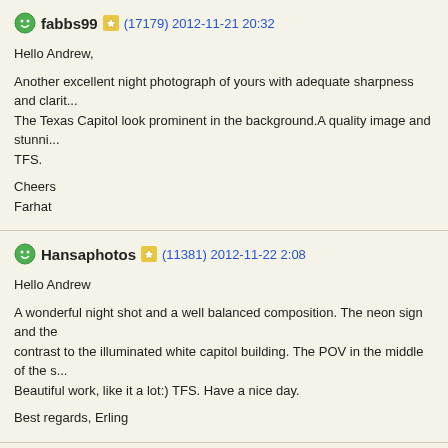fabbs99 (17179) 2012-11-21 20:32
Hello Andrew,
Another excellent night photograph of yours with adequate sharpness and clarity. The Texas Capitol look prominent in the background.A quality image and stunning. TFS.
Cheers
Farhat
Hansaphotos (11381) 2012-11-22 2:08
Hello Andrew
A wonderful night shot and a well balanced composition. The neon sign and the contrast to the illuminated white capitol building. The POV in the middle of the s... Beautiful work, like it a lot:) TFS. Have a nice day.
Best regards, Erling
Silvio1953 (223667) 2012-11-26 10:37
Ciao Andrew, fascinating nocturne shoot with fantastic lights, wonderful colors, s... exposure, very well done, my friend, ciao Silvio